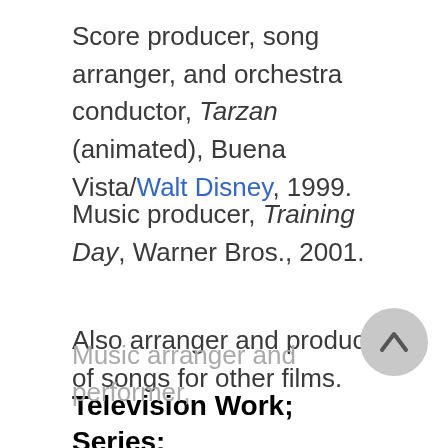Score producer, song arranger, and orchestra conductor, Tarzan (animated), Buena Vista/Walt Disney, 1999.
Music producer, Training Day, Warner Bros., 2001.
Also arranger and producer of songs for other films.
Television Work; Series:
Music arranger and performer,